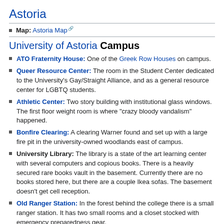Astoria
Map: Astoria Map
University of Astoria Campus
ATO Fraternity House: One of the Greek Row Houses on campus.
Queer Resource Center: The room in the Student Center dedicated to the University's Gay/Straight Alliance, and as a general resource center for LGBTQ students.
Athletic Center: Two story building with institutional glass windows. The first floor weight room is where "crazy bloody vandalism" happened.
Bonfire Clearing: A clearing Warner found and set up with a large fire pit in the university-owned woodlands east of campus.
University Library: The library is a state of the art learning center with several computers and copious books. There is a heavily secured rare books vault in the basement. Currently there are no books stored here, but there are a couple Ikea sofas. The basement doesn't get cell reception.
Old Ranger Station: In the forest behind the college there is a small ranger station. It has two small rooms and a closet stocked with emergency preparedness gear.
The Quad: A couple people have noticed that the quad is a loci. It